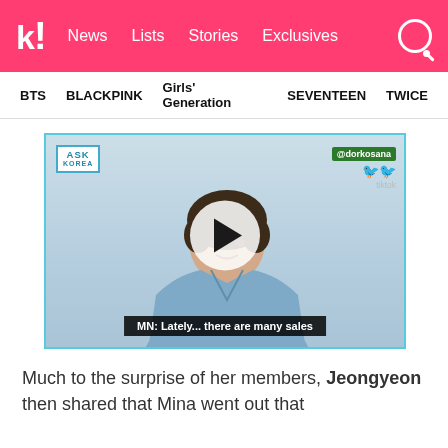k! News  Lists  Stories  Exclusives
BTS  BLACKPINK  Girls' Generation  SEVENTEEN  TWICE
[Figure (screenshot): Video thumbnail showing a person in a blue top sitting against a light blue background, with a play button overlay. Top-left shows 'ASK KOREA' logo, top-right shows '@dorkosana' watermark and TikTok branding. Bottom subtitle reads: 'MN: Lately... there are many sales']
Much to the surprise of her members, Jeongyeon then shared that Mina went out that